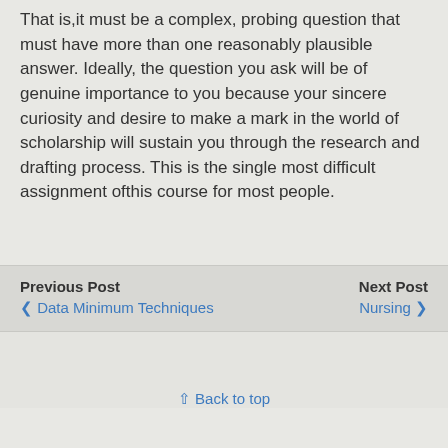That is,it must be a complex, probing question that must have more than one reasonably plausible answer. Ideally, the question you ask will be of genuine importance to you because your sincere curiosity and desire to make a mark in the world of scholarship will sustain you through the research and drafting process. This is the single most difficult assignment ofthis course for most people.
Previous Post
< Data Minimum Techniques
Next Post
Nursing >
⇑ Back to top